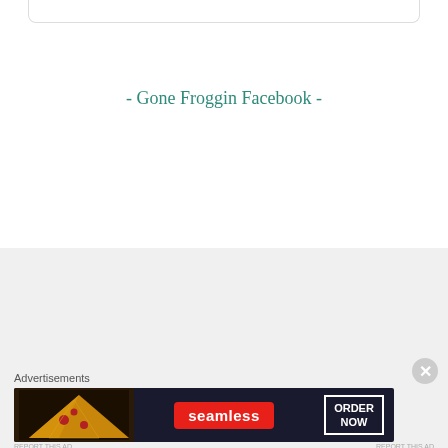- Gone Froggin Facebook -
Search …
Donation
Advertisements
[Figure (screenshot): Seamless food delivery advertisement banner with pizza image on left, red Seamless logo badge in center, and ORDER NOW button on right, on dark background]